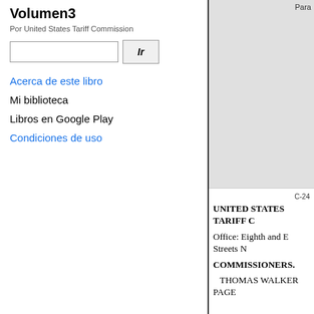Volumen 3
Por United States Tariff Commission
Ir
Acerca de este libro
Mi biblioteca
Libros en Google Play
Condiciones de uso
Para
C-24
UNITED STATES TARIFF C
Office: Eighth and E Streets N
COMMISSIONERS.
THOMAS WALKER PAGE